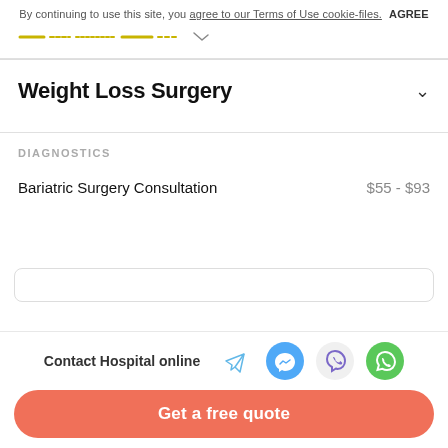By continuing to use this site, you agree to our Terms of Use cookie-files. AGREE
[Figure (logo): Yellow dashed logo/navigation strip]
Weight Loss Surgery
DIAGNOSTICS
Bariatric Surgery Consultation   $55 - $93
Contact Hospital online
Get a free quote